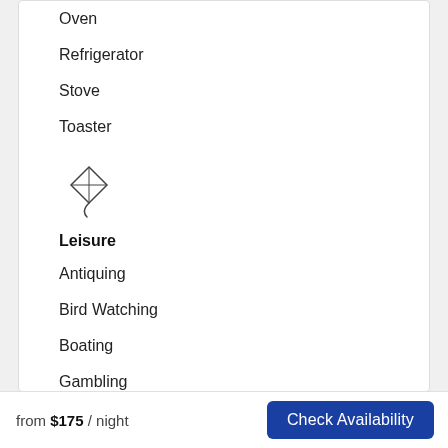Oven
Refrigerator
Stove
Toaster
[Figure (illustration): Kite icon representing Leisure section]
Leisure
Antiquing
Bird Watching
Boating
Gambling
Outlet Shopping
Shopping
Water Sports (partially visible)
from $175 / night   Check Availability